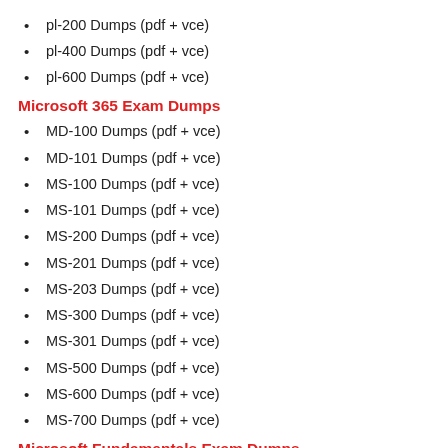pl-200 Dumps (pdf + vce)
pl-400 Dumps (pdf + vce)
pl-600 Dumps (pdf + vce)
Microsoft 365 Exam Dumps
MD-100 Dumps (pdf + vce)
MD-101 Dumps (pdf + vce)
MS-100 Dumps (pdf + vce)
MS-101 Dumps (pdf + vce)
MS-200 Dumps (pdf + vce)
MS-201 Dumps (pdf + vce)
MS-203 Dumps (pdf + vce)
MS-300 Dumps (pdf + vce)
MS-301 Dumps (pdf + vce)
MS-500 Dumps (pdf + vce)
MS-600 Dumps (pdf + vce)
MS-700 Dumps (pdf + vce)
Microsoft Fundamentals Exam Dumps
62-193 Dumps (pdf + vce)
az-900 Dumps (pdf + vce)